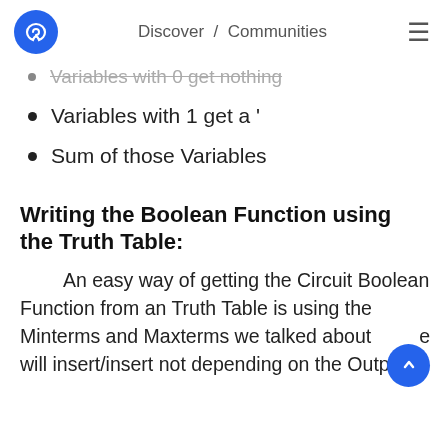Discover / Communities
Variables with 0 get nothing
Variables with 1 get a '
Sum of those Variables
Writing the Boolean Function using the Truth Table:
An easy way of getting the Circuit Boolean Function from an Truth Table is using the Minterms and Maxterms we talked about we will insert/insert not depending on the Output